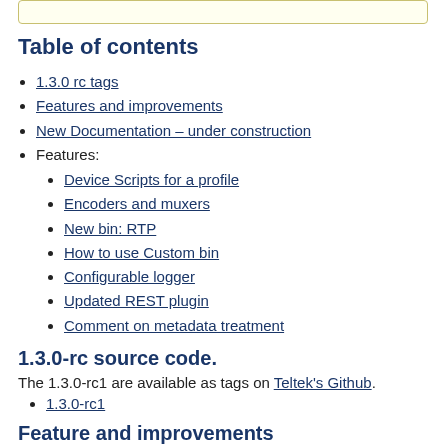Table of contents
1.3.0 rc tags
Features and improvements
New Documentation – under construction
Features:
Device Scripts for a profile
Encoders and muxers
New bin: RTP
How to use Custom bin
Configurable logger
Updated REST plugin
Comment on metadata treatment
1.3.0-rc source code.
The 1.3.0-rc1 are available as tags on Teltek's Github.
1.3.0-rc1
Feature and improvements